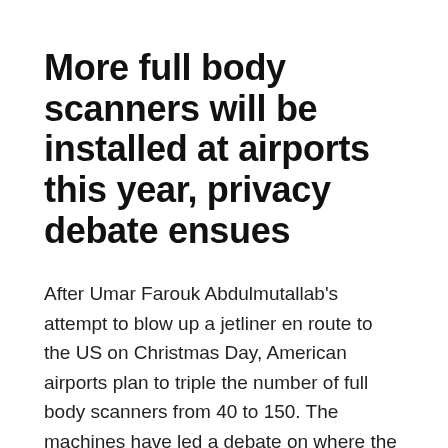More full body scanners will be installed at airports this year, privacy debate ensues
After Umar Farouk Abdulmutallab's attempt to blow up a jetliner en route to the US on Christmas Day, American airports plan to triple the number of full body scanners from 40 to 150. The machines have led a debate on where the line should be drawn on security measures to preserve the privacy of citizens.